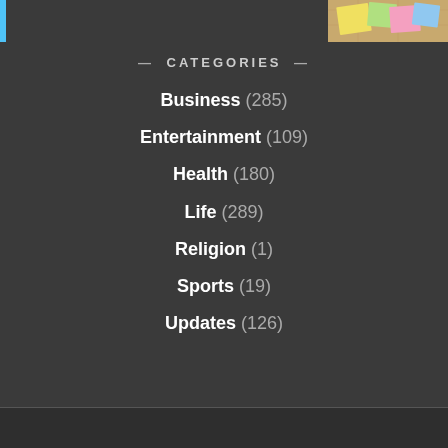[Figure (photo): Top banner area with blue accent bar on the left and a corkboard with sticky notes on the right]
— CATEGORIES —
Business (285)
Entertainment (109)
Health (180)
Life (289)
Religion (1)
Sports (19)
Updates (126)